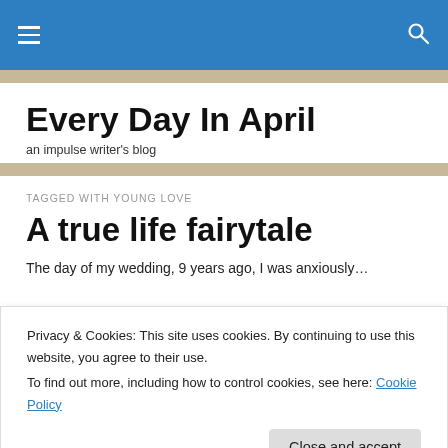Navigation bar with hamburger menu and search icon
Every Day In April
an impulse writer's blog
TAGGED WITH YOUNG LOVE
A true life fairytale
The day of my wedding, 9 years ago, I was anxiously...
Privacy & Cookies: This site uses cookies. By continuing to use this website, you agree to their use.
To find out more, including how to control cookies, see here: Cookie Policy
Close and accept
want to go through with...